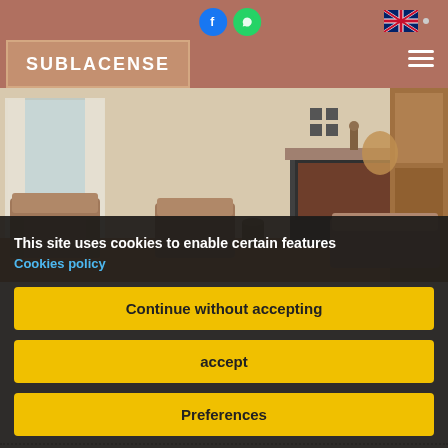SUBLACENSE
[Figure (photo): Interior photo of a rustic living room with armchairs, a fireplace/mantle with decorative items, a window with white curtains, and wooden wall paneling]
This site uses cookies to enable certain features
Cookies policy
Continue without accepting
accept
Preferences